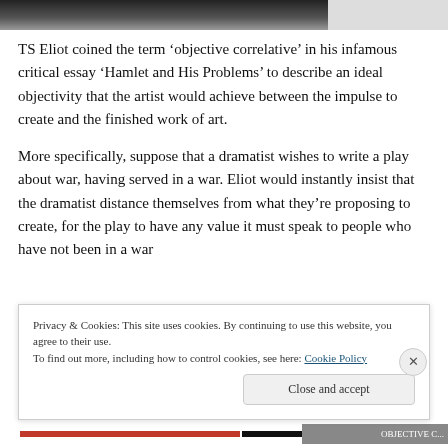[Figure (photo): Black and white photograph strip at the top of the page, partially visible]
TS Eliot coined the term ‘objective correlative’ in his infamous critical essay ‘Hamlet and His Problems’ to describe an ideal objectivity that the artist would achieve between the impulse to create and the finished work of art.
More specifically, suppose that a dramatist wishes to write a play about war, having served in a war. Eliot would instantly insist that the dramatist distance themselves from what they’re proposing to create, for the play to have any value it must speak to people who have not been in a war
Privacy & Cookies: This site uses cookies. By continuing to use this website, you agree to their use.
To find out more, including how to control cookies, see here: Cookie Policy
Close and accept